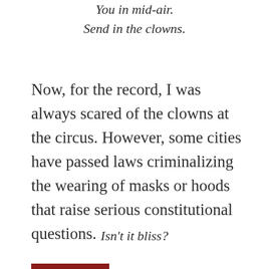You in mid-air.
Send in the clowns.
Now, for the record, I was always scared of the clowns at the circus. However, some cities have passed laws criminalizing the wearing of masks or hoods that raise serious constitutional questions.
Isn't it bliss?